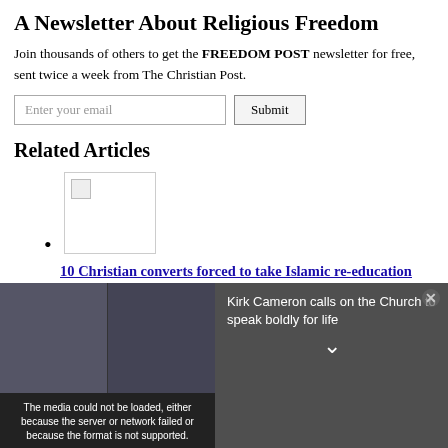A Newsletter About Religious Freedom
Join thousands of others to get the FREEDOM POST newsletter for free, sent twice a week from The Christian Post.
Enter your email  Submit
Related Articles
[Figure (photo): Broken image placeholder thumbnail for a related article]
10 Christian converts forced to take Islamic re-education classes in Iran: report
[Figure (screenshot): Video overlay popup showing media could not be loaded error, with Kirk Cameron calls on the Church to speak boldly for life title on the right side and a close button]